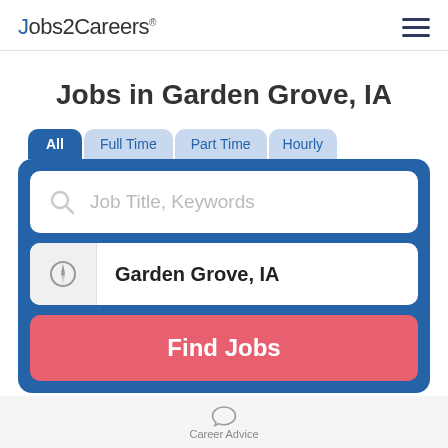Jobs2Careers
Jobs in Garden Grove, IA
[Figure (screenshot): Job search widget with tabs (All, Full Time, Part Time, Hourly), a keyword search input, a location field showing 'Garden Grove, IA', and a red 'Find Jobs' button]
Career Advice